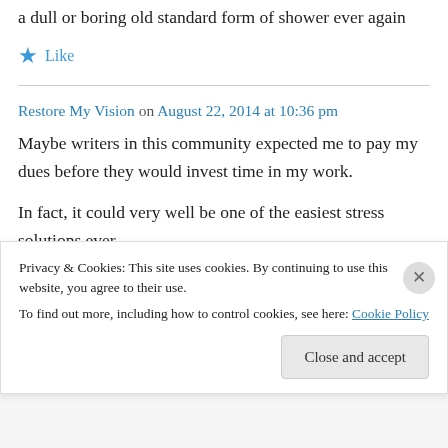a dull or boring old standard form of shower ever again
★ Like
Restore My Vision on August 22, 2014 at 10:36 pm
Maybe writers in this community expected me to pay my dues before they would invest time in my work.
In fact, it could very well be one of the easiest stress solutions ever
Privacy & Cookies: This site uses cookies. By continuing to use this website, you agree to their use.
To find out more, including how to control cookies, see here: Cookie Policy
Close and accept